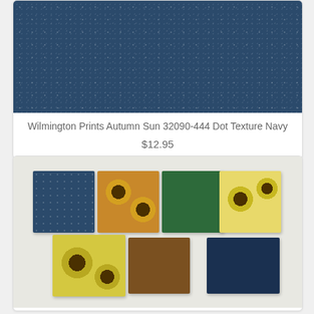[Figure (photo): Navy blue fabric with small scattered dot/floral texture pattern]
Wilmington Prints Autumn Sun 32090-444 Dot Texture Navy
$12.95
[Figure (photo): Seven fabric swatches fanned out on white background showing Autumn Sun collection: navy dot, golden sunflower, dark green, yellow sunflower, large yellow sunflower print, brown texture, and navy sunflower prints]